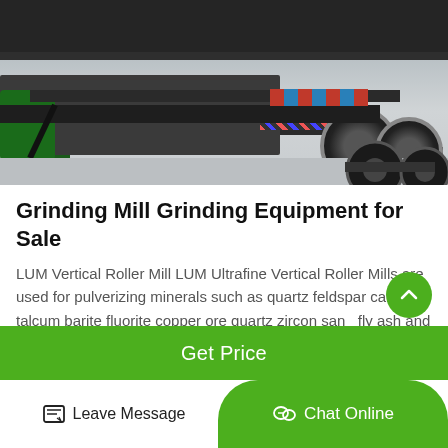[Figure (photo): Industrial grinding mill / heavy equipment on a flatbed trailer in a warehouse, showing dark machinery frame, rollers, orange and blue chevron stripes, and large wheels]
Grinding Mill Grinding Equipment for Sale
LUM Vertical Roller Mill LUM Ultrafine Vertical Roller Mills are used for pulverizing minerals such as quartz feldspar calcite talcum barite fluorite copper ore quartz zircon sand fly ash and coal etc LEARN MORE MB5X Grinding Mi...
Get Price
Leave Message
Chat Online